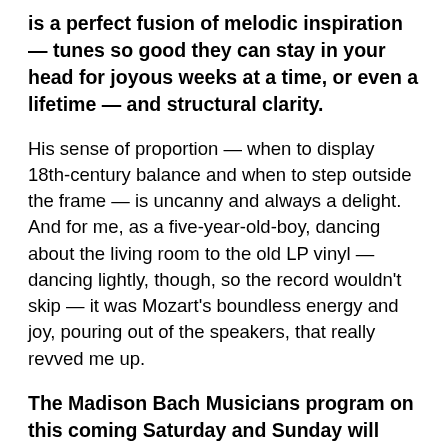is a perfect fusion of melodic inspiration — tunes so good they can stay in your head for joyous weeks at a time, or even a lifetime — and structural clarity.
His sense of proportion — when to display 18th-century balance and when to step outside the frame — is uncanny and always a delight. And for me, as a five-year-old-boy, dancing about the living room to the old LP vinyl — dancing lightly, though, so the record wouldn't skip — it was Mozart's boundless energy and joy, pouring out of the speakers, that really revved me up.
The Madison Bach Musicians program on this coming Saturday and Sunday will explore several sides of Mozart's genius: master orchestrator and symphonist; aficionado of fugues; virtuoso keyboard player and mesmerizing improviser; ballet composer; and the